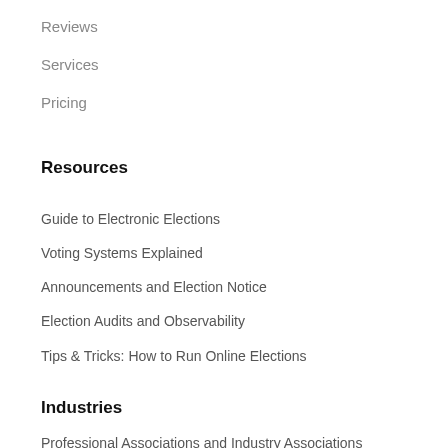Reviews
Services
Pricing
Resources
Guide to Electronic Elections
Voting Systems Explained
Announcements and Election Notice
Election Audits and Observability
Tips & Tricks: How to Run Online Elections
Industries
Professional Associations and Industry Associations